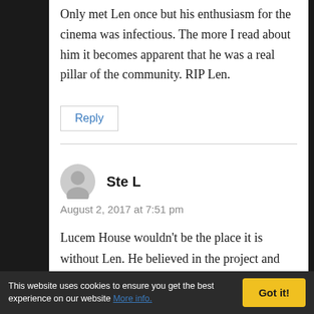Only met Len once but his enthusiasm for the cinema was infectious. The more I read about him it becomes apparent that he was a real pillar of the community. RIP Len.
Reply
Ste L
August 2, 2017 at 7:51 pm
Lucem House wouldn't be the place it is without Len. He believed in the project and put all his efforts towards making it a success. He was a warm, decent, honest,sincere and funny
This website uses cookies to ensure you get the best experience on our website More info.